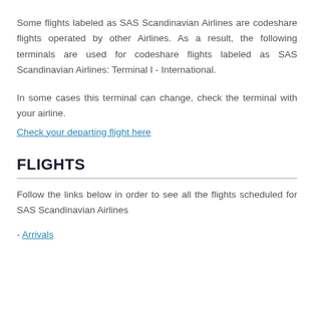Some flights labeled as SAS Scandinavian Airlines are codeshare flights operated by other Airlines. As a result, the following terminals are used for codeshare flights labeled as SAS Scandinavian Airlines: Terminal I - International.
In some cases this terminal can change, check the terminal with your airline.
Check your departing flight here
FLIGHTS
Follow the links below in order to see all the flights scheduled for SAS Scandinavian Airlines
- Arrivals